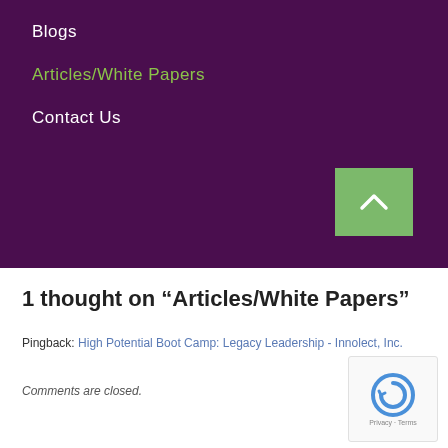Blogs
Articles/White Papers
Contact Us
[Figure (other): Green back-to-top button with upward chevron arrow]
1 thought on “Articles/White Papers”
Pingback: High Potential Boot Camp: Legacy Leadership - Innolect, Inc.
Comments are closed.
[Figure (other): reCAPTCHA badge with Privacy and Terms links]